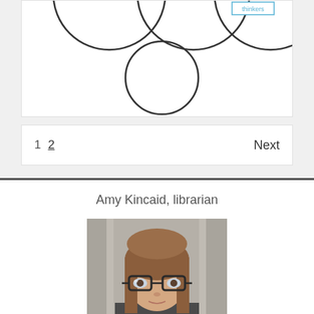[Figure (other): Diagram showing circles connected with lines, partially visible at top of page. A small blue label 'thinkers' visible in top right corner.]
1  2    Next
Amy Kincaid, librarian
[Figure (photo): Photo of Amy Kincaid, a woman with long brown hair and dark-rimmed glasses, against a grey curtain background.]